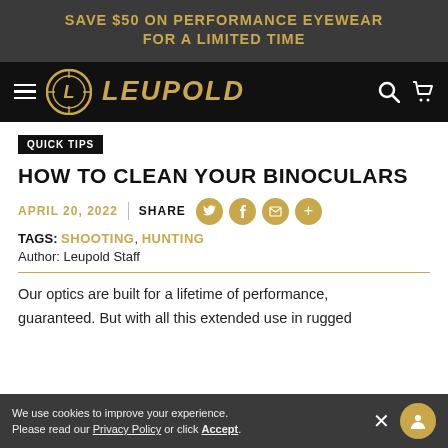SAVE $50 ON PERFORMANCE EYEWEAR FOR A LIMITED TIME
[Figure (logo): Leupold brand logo with hamburger menu, circular crosshair logo mark, LEUPOLD wordmark in gold italic, search and cart icons on black navigation bar]
QUICK TIPS
HOW TO CLEAN YOUR BINOCULARS
APRIL 20, 2022 | SHARE [social icons]
TAGS: SHOOTING, HUNTING
Author: Leupold Staff
Our optics are built for a lifetime of performance, guaranteed. But with all this extended use in rugged
We use cookies to improve your experience. Please read our Privacy Policy or click Accept.